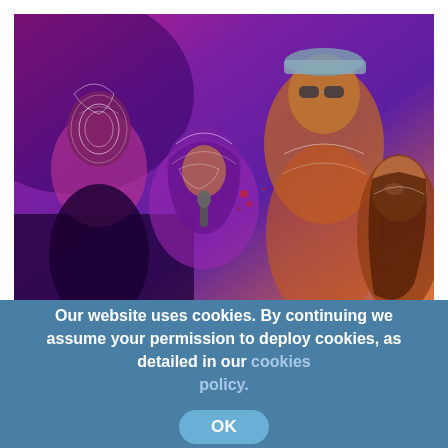[Figure (illustration): Stylized artistic illustration of four people against a purple-to-orange gradient background. From left: a bald person with contour-line face tattoos, a person wearing a hijab and holding a microphone, a tall person wearing a cap and sunglasses, and a person with long hair on the right. The style uses glowing white line art overlaid on photographic elements.]
Our website uses cookies. By continuing we assume your permission to deploy cookies, as detailed in our cookies policy.